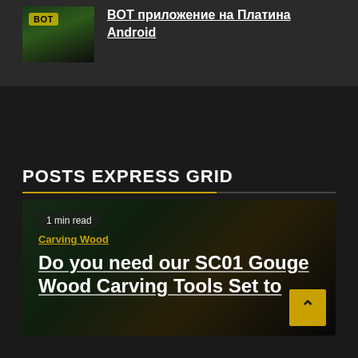[Figure (screenshot): Thumbnail image with overlay badge and link text visible at top of page]
BOT приложение на Платина Android
POSTS EXPRESS GRID
[Figure (photo): A photo showing hands carving wood with tools, slightly blurred]
1 min read
Carving Wood
Do you need our SC01 Gouge Wood Carving Tools Set to add to your